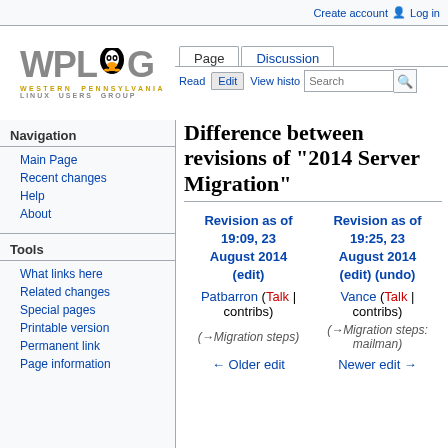Create account  Log in
[Figure (logo): WPLUG - Western Pennsylvania Linux Users Group logo with Tux penguin]
Page  Discussion  Read  Edit  View history  Search
Difference between revisions of "2014 Server Migration"
Navigation
Main Page
Recent changes
Help
About
Tools
What links here
Related changes
Special pages
Printable version
Permanent link
Page information
| Revision as of 19:09, 23 August 2014 (edit) | Revision as of 19:25, 23 August 2014 (edit) (undo) |
| --- | --- |
| Patbarron (Talk | contribs) | Vance (Talk | contribs) |
| (→Migration steps) | (→Migration steps: mailman) |
| ← Older edit | Newer edit → |